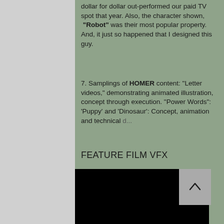dollar for dollar out-performed our paid TV spot that year. Also, the character shown, "Robot" was their most popular property. And, it just so happened that I designed this guy.
7. Samplings of HOMER content: "Letter videos," demonstrating animated illustration, concept through execution. "Power Words": 'Puppy' and 'Dinosaur': Concept, animation and technical [truncated]
FEATURE FILM VFX
[Figure (other): Black video/media embed placeholder rectangle]